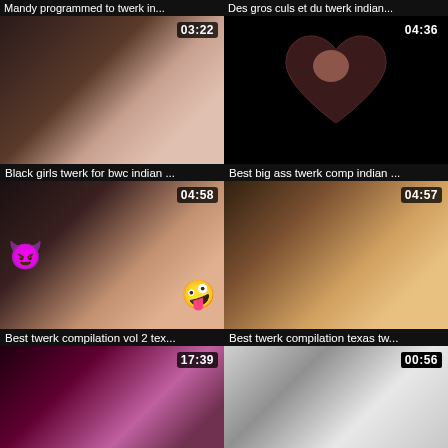Mandy programmed to twerk in...
Des gros culs et du twerk indian...
[Figure (photo): Video thumbnail showing two people, duration 03:22]
[Figure (photo): Video thumbnail with heart shape overlay, duration 04:36]
Black girls twerk for bwc indian ...
Best big ass twerk comp indian ...
[Figure (photo): Video thumbnail with devil emoji and zany face emoji, duration 04:58]
[Figure (photo): Video thumbnail showing person from behind, duration 04:57]
Best twerk compilation vol 2 tex...
Best twerk compilation texas tw...
[Figure (photo): Video thumbnail close up, duration 17:39]
[Figure (photo): Video thumbnail of person in room, duration 00:56]